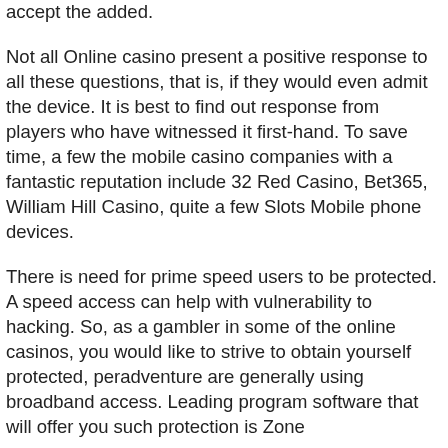accept the added.
Not all Online casino present a positive response to all these questions, that is, if they would even admit the device. It is best to find out response from players who have witnessed it first-hand. To save time, a few the mobile casino companies with a fantastic reputation include 32 Red Casino, Bet365, William Hill Casino, quite a few Slots Mobile phone devices.
There is need for prime speed users to be protected. A speed access can help with vulnerability to hacking. So, as a gambler in some of the online casinos, you would like to strive to obtain yourself protected, peradventure are generally using broadband access. Leading program software that will offer you such protection is Zone